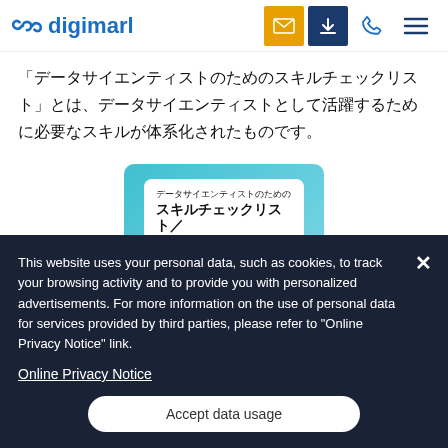digimarl
「データサイエンティストのためのスキルチェックリスト」とは、データサイエンティストとして活躍するために必要なスキルが体系化されたものです。
[Figure (illustration): Book cover showing 'データサイエンティストのためのスキルチェックリスト／タスクリスト概説' on a teal/cyan background with a white rounded rectangle card]
This website uses your personal data, such as cookies, to track your browsing activity and to provide you with personalized advertisements. For more information on the use of personal data for services provided by third parties, please refer to "Online Privacy Notice" link.
Online Privacy Notice
Accept data usage